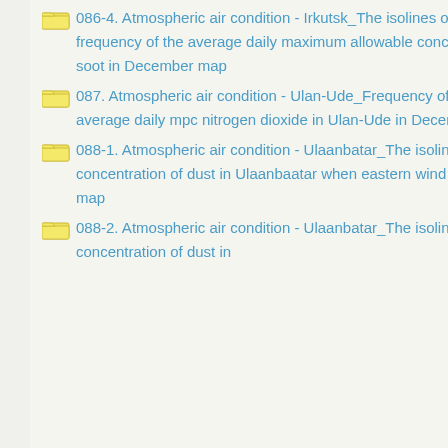086-4. Atmospheric air condition - Irkutsk_The isolines of excess frequency of the average daily maximum allowable concentration of soot in December map
087. Atmospheric air condition - Ulan-Ude_Frequency of excess average daily mpc nitrogen dioxide in Ulan-Ude in December map
088-1. Atmospheric air condition - Ulaanbatar_The isolines of concentration of dust in Ulaanbaatar when eastern wind is 5 MPs map
088-2. Atmospheric air condition - Ulaanbatar_The isolines of concentration of dust in